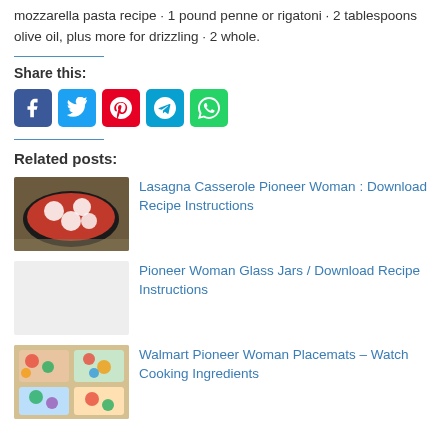mozzarella pasta recipe · 1 pound penne or rigatoni · 2 tablespoons olive oil, plus more for drizzling · 2 whole.
Share this:
[Figure (infographic): Social sharing buttons: Facebook (blue), Twitter (light blue), Pinterest (red), Telegram (blue), WhatsApp (green)]
Related posts:
[Figure (photo): Lasagna casserole in a cast iron skillet with melted cheese and tomato sauce]
Lasagna Casserole Pioneer Woman : Download Recipe Instructions
Pioneer Woman Glass Jars / Download Recipe Instructions
[Figure (photo): Pioneer Woman placemats with colorful floral pattern]
Walmart Pioneer Woman Placemats – Watch Cooking Ingredients